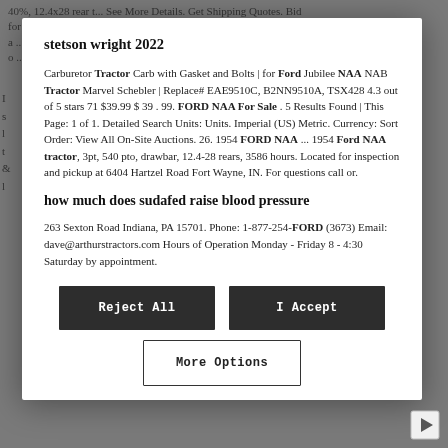40%, 12.4x28 rear t... See More Details. Get Shipping Quotes. Bid for the chance to own a Restored 1944 Ford 2N Tractor at a ... o ...
stetson wright 2022
Carburetor Tractor Carb with Gasket and Bolts | for Ford Jubilee NAA NAB Tractor Marvel Schebler | Replace# EAE9510C, B2NN9510A, TSX428 4.3 out of 5 stars 71 $39.99 $ 39 . 99. FORD NAA For Sale . 5 Results Found | This Page: 1 of 1. Detailed Search Units: Units. Imperial (US) Metric. Currency: Sort Order: View All On-Site Auctions. 26. 1954 FORD NAA ... 1954 Ford NAA tractor, 3pt, 540 pto, drawbar, 12.4-28 rears, 3586 hours. Located for inspection and pickup at 6404 Hartzel Road Fort Wayne, IN. For questions call or.
how much does sudafed raise blood pressure
263 Sexton Road Indiana, PA 15701. Phone: 1-877-254-FORD (3673) Email: dave@arthurstractors.com Hours of Operation Monday - Friday 8 - 4:30 Saturday by appointment.
Reject All
I Accept
More Options